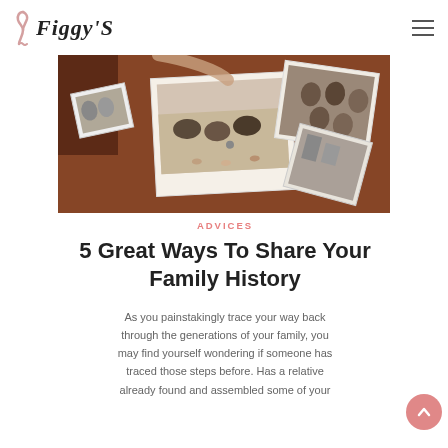Figgy'S
[Figure (photo): Collection of scattered old family photographs on a wooden table, including polaroid-style photos of children lying on the floor, and black-and-white vintage photos.]
ADVICES
5 Great Ways To Share Your Family History
As you painstakingly trace your way back through the generations of your family, you may find yourself wondering if someone has traced those steps before. Has a relative already found and assembled some of your